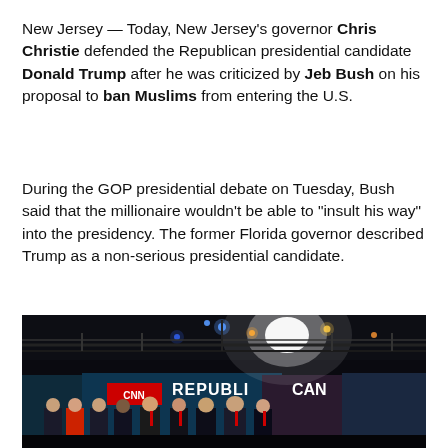New Jersey — Today, New Jersey's governor Chris Christie defended the Republican presidential candidate Donald Trump after he was criticized by Jeb Bush on his proposal to ban Muslims from entering the U.S.
During the GOP presidential debate on Tuesday, Bush said that the millionaire wouldn't be able to "insult his way" into the presidency. The former Florida governor described Trump as a non-serious presidential candidate.
[Figure (photo): Group photo of Republican presidential debate candidates standing on stage in front of a CNN Republican Debate backdrop with stage lighting visible above.]